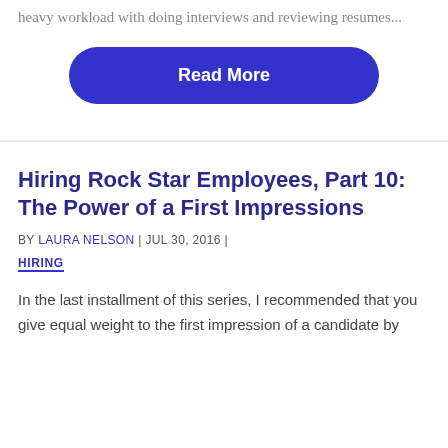heavy workload with doing interviews and reviewing resumes...
Read More
Hiring Rock Star Employees, Part 10: The Power of a First Impressions
BY LAURA NELSON | JUL 30, 2016 | HIRING
In the last installment of this series, I recommended that you give equal weight to the first impression of a candidate by